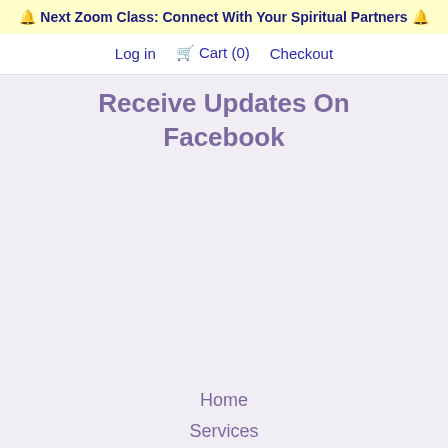🔔 Next Zoom Class: Connect With Your Spiritual Partners 🔔
Log in  🛒 Cart (0)  Checkout
Receive Updates On Facebook
Home
Services